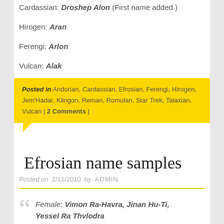Cardassian: Droshep Alon (First name added.)
Hirogen: Aran
Ferengi: Arlon
Vulcan: Alak
Posted in Andorian, Cardassian, Efrosian, Ferengi, Hirogen, Jem'Hadar, Klingon, Reman, Romulan, Star Trek, Talaxian, Vulcan | 2 Comments |
Efrosian name samples
Posted on 2/11/2010 by ADMIN
Female: Vimon Ra-Havra, Jinan Hu-Ti, Yessel Ra Thvlodra